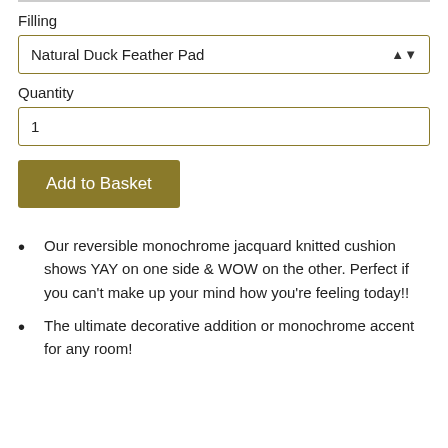Filling
Natural Duck Feather Pad
Quantity
1
Add to Basket
Our reversible monochrome jacquard knitted cushion shows YAY on one side & WOW on the other. Perfect if you can't make up your mind how you're feeling today!!
The ultimate decorative addition or monochrome accent for any room!